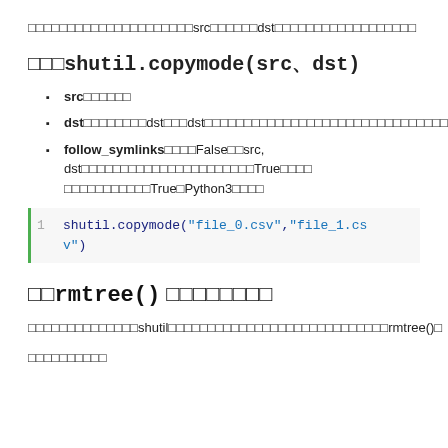コピー先のファイルにsrcファイルのdstファイルのパーミッションをコピーします
>>> shutil.copymode(src、dst)
src：ソースファイル
dst：宛先ファイルdst以外のdstはコピー先のパーミッションが変更されません
follow_symlinks：デフォルトFalse。src, dstがシンボリックリンクで指定されたファイルのTrueに設定してコピーTrue。Python3から追加
[Figure (screenshot): Code block: shutil.copymode("file_0.csv","file_1.csv")]
□□rmtree() □□□□□□□□
フォルダを削除するにはshutilモジュールのファイルを削除するのにはrmtree()を
□□□□□□□□□□